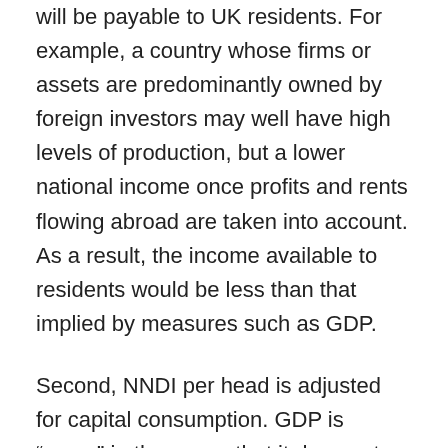will be payable to UK residents. For example, a country whose firms or assets are predominantly owned by foreign investors may well have high levels of production, but a lower national income once profits and rents flowing abroad are taken into account. As a result, the income available to residents would be less than that implied by measures such as GDP.
Second, NNDI per head is adjusted for capital consumption. GDP is “gross” in the sense that it does not adjust for capital depreciation, that is, the day-to-day wear and tear on vehicles, machinery, buildings and other fixed capital used in the productive process. It treats such consumption of capital as no different from any other form of consumption, but most people